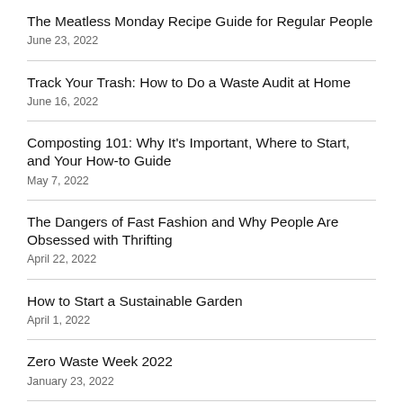The Meatless Monday Recipe Guide for Regular People
June 23, 2022
Track Your Trash: How to Do a Waste Audit at Home
June 16, 2022
Composting 101: Why It's Important, Where to Start, and Your How-to Guide
May 7, 2022
The Dangers of Fast Fashion and Why People Are Obsessed with Thrifting
April 22, 2022
How to Start a Sustainable Garden
April 1, 2022
Zero Waste Week 2022
January 23, 2022
A Resolution Revolution
January 2022